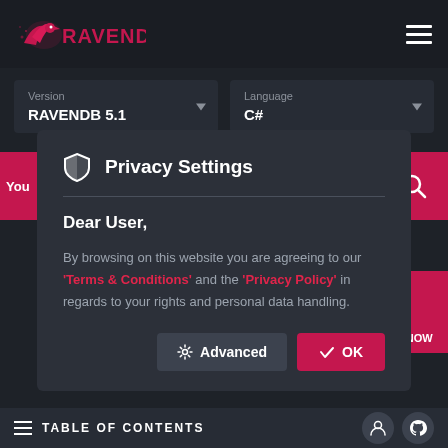[Figure (logo): RavenDB logo with pink raven bird icon and red RAVENDB text]
Version
RAVENDB 5.1
Language
C#
[Figure (screenshot): Privacy Settings modal dialog on dark RavenDB documentation website]
Privacy Settings
Dear User,
By browsing on this website you are agreeing to our 'Terms & Conditions' and the 'Privacy Policy' in regards to your rights and personal data handling.
Advanced
OK
TABLE OF CONTENTS